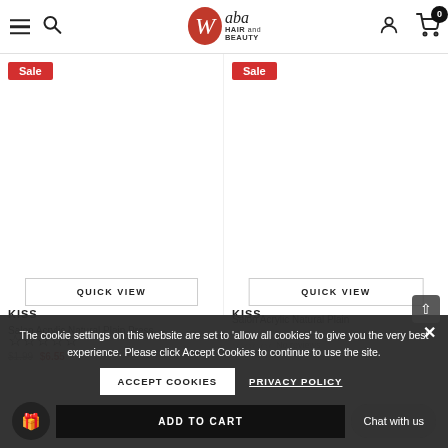Waba Hair and Beauty — navigation header with hamburger menu, search, logo, user and cart icons
[Figure (screenshot): Sale badge (red) on left product column]
[Figure (screenshot): Sale badge (red) on right product column]
QUICK VIEW
QUICK VIEW
KISS
Salon Acrylic Natural Plain Press.
KISS
Salon Acrylic Natural Plain
No reviews
$6.55
The cookie settings on this website are set to 'allow all cookies' to give you the very best experience. Please click Accept Cookies to continue to use the site.
ACCEPT COOKIES
PRIVACY POLICY
Chat with us
ADD TO CART